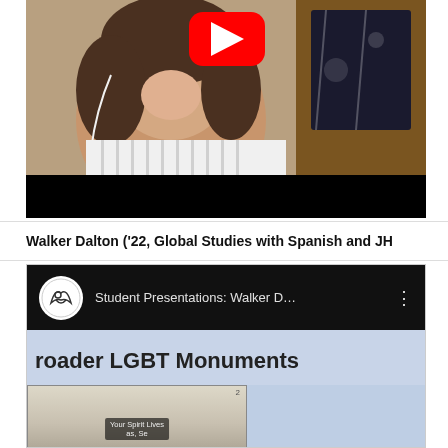[Figure (screenshot): YouTube video thumbnail showing a smiling woman wearing a striped shirt and earbuds, with a wooden cabinet in the background. A red YouTube play button is visible at the top center.]
Walker Dalton ('22, Global Studies with Spanish and JH...
[Figure (screenshot): YouTube video embed for 'Student Presentations: Walker D...' showing channel icon and video title in dark bar at top, followed by a slide with text 'roader LGBT Monuments' on a light blue background, and a nested presentation slide at the bottom.]